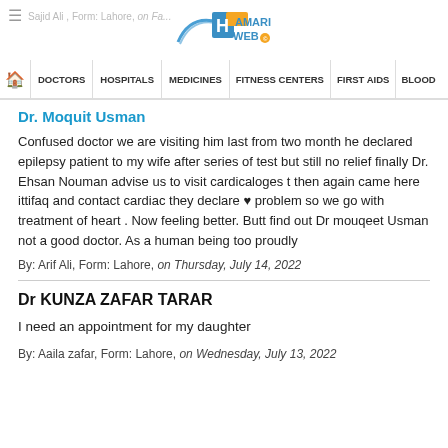Sajid Ali, Form: Lahore, on Fa... | HamariWeb
DOCTORS | HOSPITALS | MEDICINES | FITNESS CENTERS | FIRST AIDS | BLOOD
Dr. Moquit Usman
Confused doctor we are visiting him last from two month he declared epilepsy patient to my wife after series of test but still no relief finally Dr. Ehsan Nouman advise us to visit cardicaloges t then again came here ittifaq and contact cardiac they declare ♥ problem so we go with treatment of heart . Now feeling better. Butt find out Dr mouqeet Usman not a good doctor. As a human being too proudly
By: Arif Ali, Form: Lahore, on Thursday, July 14, 2022
Dr KUNZA ZAFAR TARAR
I need an appointment for my daughter
By: Aaila zafar, Form: Lahore, on Wednesday, July 13, 2022